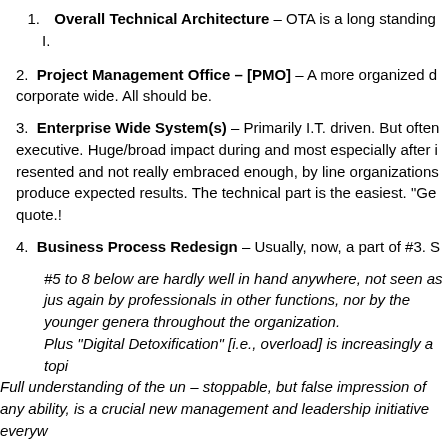1. Overall Technical Architecture – OTA is a long standing I.
2. Project Management Office – [PMO] – A more organized d corporate wide. All should be.
3. Enterprise Wide System(s) – Primarily I.T. driven. But often executive. Huge/broad impact during and most especially after i resented and not really embraced enough, by line organizations produce expected results. The technical part is the easiest. "Ge quote.!
4. Business Process Redesign – Usually, now, a part of #3. S
#5 to 8 below are hardly well in hand anywhere, not seen as jus again by professionals in other functions, nor by the younger genera throughout the organization.
Plus "Digital Detoxification" [i.e., overload] is increasingly a topi Full understanding of the un – stoppable, but false impression of any ability, is a crucial new management and leadership initiative everyw
5. Mobility – handhelds everywhere. Often get in the way